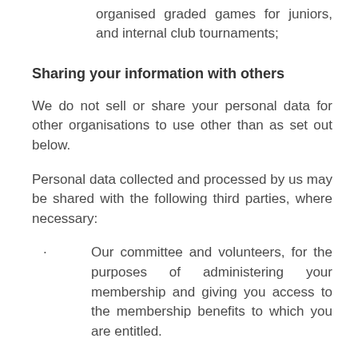organised graded games for juniors, and internal club tournaments;
Sharing your information with others
We do not sell or share your personal data for other organisations to use other than as set out below.
Personal data collected and processed by us may be shared with the following third parties, where necessary:
Our committee and volunteers, for the purposes of administering your membership and giving you access to the membership benefits to which you are entitled.